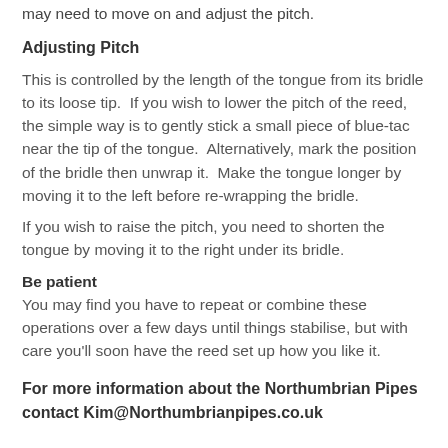may need to move on and adjust the pitch.
Adjusting Pitch
This is controlled by the length of the tongue from its bridle to its loose tip.  If you wish to lower the pitch of the reed, the simple way is to gently stick a small piece of blue-tac near the tip of the tongue.  Alternatively, mark the position of the bridle then unwrap it.  Make the tongue longer by moving it to the left before re-wrapping the bridle.
If you wish to raise the pitch, you need to shorten the tongue by moving it to the right under its bridle.
Be patient
You may find you have to repeat or combine these operations over a few days until things stabilise, but with care you'll soon have the reed set up how you like it.
For more information about the Northumbrian Pipes contact Kim@Northumbrianpipes.co.uk